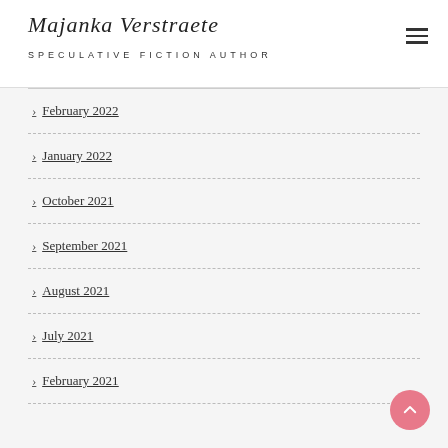Majanka Verstraete — SPECULATIVE FICTION AUTHOR
February 2022
January 2022
October 2021
September 2021
August 2021
July 2021
February 2021